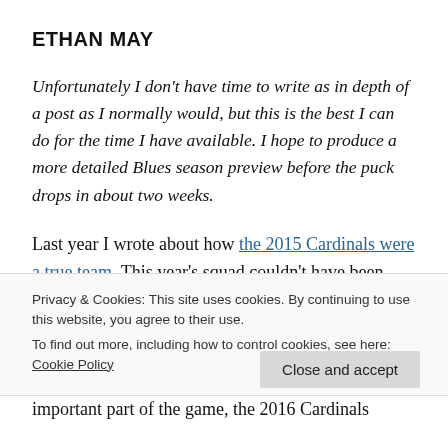ETHAN MAY
Unfortunately I don't have time to write as in depth of a post as I normally would, but this is the best I can do for the time I have available. I hope to produce a more detailed Blues season preview before the puck drops in about two weeks.
Last year I wrote about how the 2015 Cardinals were a true team. This year's squad couldn't have been much different, and they missed the
Privacy & Cookies: This site uses cookies. By continuing to use this website, you agree to their use.
To find out more, including how to control cookies, see here: Cookie Policy
Close and accept
important part of the game, the 2016 Cardinals